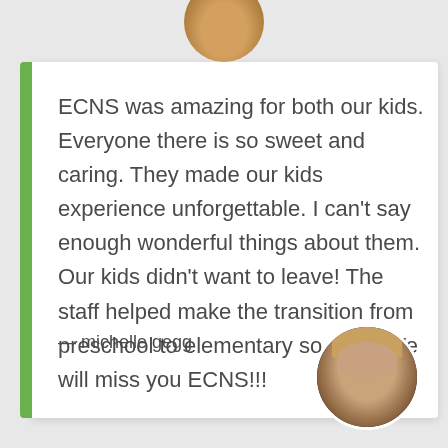[Figure (photo): Partial circular profile photo cropped at the top of the page]
ECNS was amazing for both our kids. Everyone there is so sweet and caring. They made our kids experience unforgettable. I can't say enough wonderful things about them. Our kids didn't want to leave! The staff helped make the transition from preschool to elementary so easy. We will miss you ECNS!!!
— michelle gegg
[Figure (photo): Circular profile photo of michelle gegg, a smiling blonde woman, positioned at the bottom right of the card]